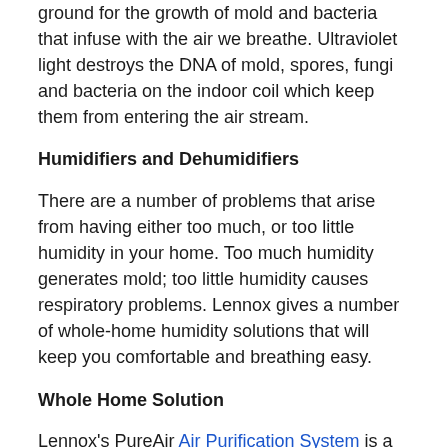ground for the growth of mold and bacteria that infuse with the air we breathe. Ultraviolet light destroys the DNA of mold, spores, fungi and bacteria on the indoor coil which keep them from entering the air stream.
Humidifiers and Dehumidifiers
There are a number of problems that arise from having either too much, or too little humidity in your home. Too much humidity generates mold; too little humidity causes respiratory problems. Lennox gives a number of whole-home humidity solutions that will keep you comfortable and breathing easy.
Whole Home Solution
Lennox's PureAir Air Purification System is a whole-home solution that applies a high efficiency carbon filter and photocatalytic oxidation to battle all three